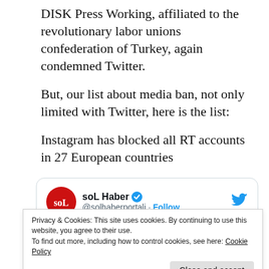DISK Press Working, affiliated to the revolutionary labor unions confederation of Turkey, again condemned Twitter.
But, our list about media ban, not only limited with Twitter, here is the list:
Instagram has blocked all RT accounts in 27 European countries
[Figure (screenshot): Tweet card from soL Haber (@solhaberportali) with Follow button and Twitter bird icon]
Privacy & Cookies: This site uses cookies. By continuing to use this website, you agree to their use. To find out more, including how to control cookies, see here: Cookie Policy
account restricted